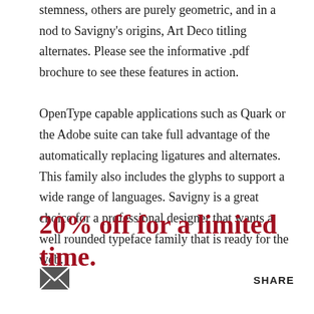stemness, others are purely geometric, and in a nod to Savigny's origins, Art Deco titling alternates. Please see the informative .pdf brochure to see these features in action.
OpenType capable applications such as Quark or the Adobe suite can take full advantage of the automatically replacing ligatures and alternates. This family also includes the glyphs to support a wide range of languages. Savigny is a great choice for a professional designer that wants a well rounded typeface family that is ready for the web.
20% off for a limited time.
[Figure (illustration): Email/envelope icon (small dark envelope symbol)]
SHARE